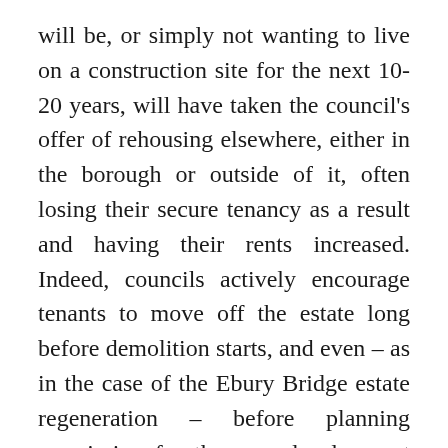will be, or simply not wanting to live on a construction site for the next 10-20 years, will have taken the council's offer of rehousing elsewhere, either in the borough or outside of it, often losing their secure tenancy as a result and having their rents increased. Indeed, councils actively encourage tenants to move off the estate long before demolition starts, and even – as in the case of the Ebury Bridge estate regeneration – before planning permission for the new development has been granted. Of the 1,034 secure council tenants on the Heygate estate, only 45 had returned to the new development by February 2013; 216 were rehoused within the SE17 postcode, while the